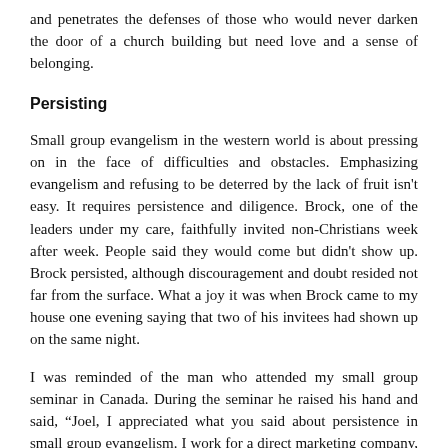and penetrates the defenses of those who would never darken the door of a church building but need love and a sense of belonging.
Persisting
Small group evangelism in the western world is about pressing on in the face of difficulties and obstacles. Emphasizing evangelism and refusing to be deterred by the lack of fruit isn't easy. It requires persistence and diligence. Brock, one of the leaders under my care, faithfully invited non-Christians week after week. People said they would come but didn't show up. Brock persisted, although discouragement and doubt resided not far from the surface. What a joy it was when Brock came to my house one evening saying that two of his invitees had shown up on the same night.
I was reminded of the man who attended my small group seminar in Canada. During the seminar he raised his hand and said, “Joel, I appreciated what you said about persistence in small group evangelism. I work for a direct marketing company, and we're taught that every no we receive on the phone is just a